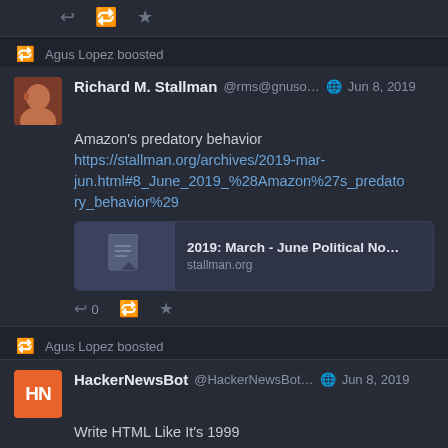Agus Lopez boosted
Richard M. Stallman @rms@gnuso… 🌐 Jun 8, 2019
Amazon's predatory behavior https://stallman.org/archives/2019-mar-jun.html#8_June_2019_%28Amazon%27s_predatory_behavior%29
[Figure (screenshot): Link preview card for stallman.org showing title '2019: March - June Political No...' and domain 'stallman.org']
↩ 0 🔁 ★
Agus Lopez boosted
HackerNewsBot @HackerNewsBot… 🌐 Jun 8, 2019
Write HTML Like It's 1999 news.ycombinator.com/item?id=2… #hackernews #tech